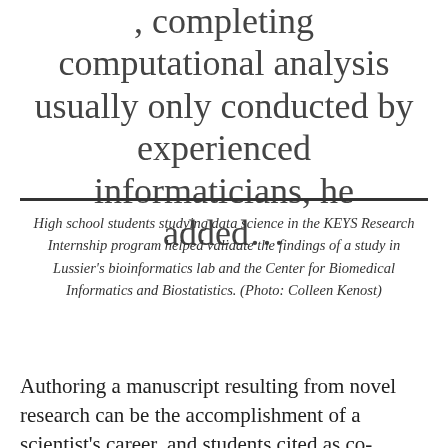completing computational analysis usually only conducted by experienced informaticians, he added...
High school students studying data science in the KEYS Research Internship program helped validate the findings of a study in Lussier's bioinformatics lab and the Center for Biomedical Informatics and Biostatistics. (Photo: Colleen Kenost)
Authoring a manuscript resulting from novel research can be the accomplishment of a scientist's career, and students cited as co-authors